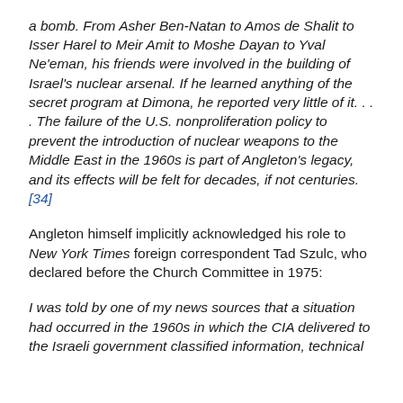a bomb. From Asher Ben-Natan to Amos de Shalit to Isser Harel to Meir Amit to Moshe Dayan to Yval Ne'eman, his friends were involved in the building of Israel's nuclear arsenal. If he learned anything of the secret program at Dimona, he reported very little of it. . . . The failure of the U.S. nonproliferation policy to prevent the introduction of nuclear weapons to the Middle East in the 1960s is part of Angleton's legacy, and its effects will be felt for decades, if not centuries.[34]
Angleton himself implicitly acknowledged his role to New York Times foreign correspondent Tad Szulc, who declared before the Church Committee in 1975:
I was told by one of my news sources that a situation had occurred in the 1960s in which the CIA delivered to the Israeli government classified information, technical